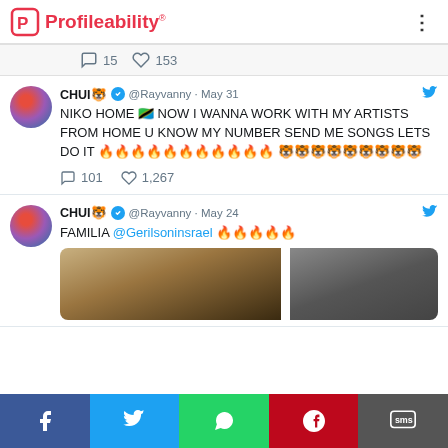Profileability
15 replies, 153 likes
CHUI🐯 ✓ @Rayvanny · May 31
NIKO HOME 🇹🇿 NOW I WANNA WORK WITH MY ARTISTS FROM HOME U KNOW MY NUMBER SEND ME SONGS LETS DO IT 🔥🔥🔥🔥🔥🔥🔥🔥🔥🔥🔥 🐯🐯🐯🐯🐯🐯🐯🐯🐯
101 replies, 1,267 likes
CHUI🐯 ✓ @Rayvanny · May 24
FAMILIA @Gerilsoninsrael 🔥🔥🔥🔥🔥
[Figure (screenshot): Partial photo strip showing two blurred images]